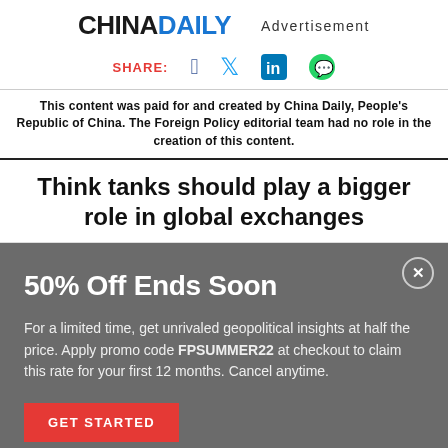CHINADAILY  Advertisement
SHARE:
This content was paid for and created by China Daily, People's Republic of China. The Foreign Policy editorial team had no role in the creation of this content.
Think tanks should play a bigger role in global exchanges
50% Off Ends Soon
For a limited time, get unrivaled geopolitical insights at half the price. Apply promo code FPSUMMER22 at checkout to claim this rate for your first 12 months. Cancel anytime.
GET STARTED
CLOSE